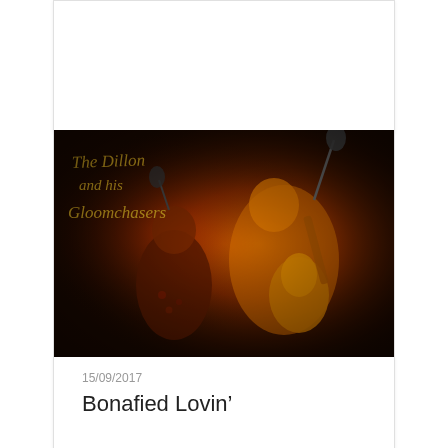[Figure (photo): Concert photo showing two musicians performing on a dark stage with warm orange lighting. Text overlay in gold/yellow italic font reads 'The Dillon and his Gloomchasers'. One musician is singing into a microphone, another is playing an acoustic guitar.]
15/09/2017
Bonafied Lovin'